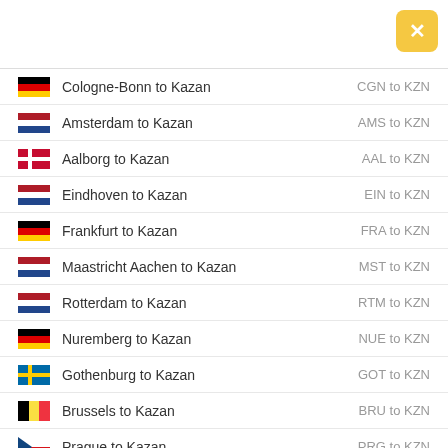Cologne-Bonn to Kazan — CGN to KZN
Amsterdam to Kazan — AMS to KZN
Aalborg to Kazan — AAL to KZN
Eindhoven to Kazan — EIN to KZN
Frankfurt to Kazan — FRA to KZN
Maastricht Aachen to Kazan — MST to KZN
Rotterdam to Kazan — RTM to KZN
Nuremberg to Kazan — NUE to KZN
Gothenburg to Kazan — GOT to KZN
Brussels to Kazan — BRU to KZN
Prague to Kazan — PRG to KZN